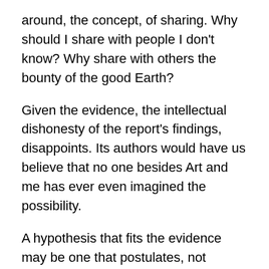around, the concept, of sharing. Why should I share with people I don't know? Why share with others the bounty of the good Earth?
Given the evidence, the intellectual dishonesty of the report's findings, disappoints. Its authors would have us believe that no one besides Art and me has ever even imagined the possibility.
A hypothesis that fits the evidence may be one that postulates, not extraterrestrials, but beings submarine at the controls of them UAPs; beings submarine are the drivers of the UAPs, possibly.
Beings submarine or subterranean may well be the drivers of them UAPs, possibly. Given how picky we are about looks, they probably would be shy, especially, if they